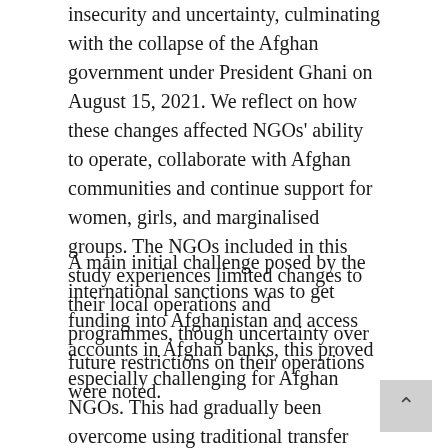insecurity and uncertainty, culminating with the collapse of the Afghan government under President Ghani on August 15, 2021. We reflect on how these changes affected NGOs' ability to operate, collaborate with Afghan communities and continue support for women, girls, and marginalised groups. The NGOs included in this study experiences limited changes to their local operations and programmes, though uncertainty over future restrictions on their operations were noted.
A main initial challenge posed by the international sanctions was to get funding into Afghanistan and access accounts in Afghan banks, this proved especially challenging for Afghan NGOs. This had gradually been overcome using traditional transfer mechanisms and later utilizing a United Nations system. It is difficult to compare NGO's experiences